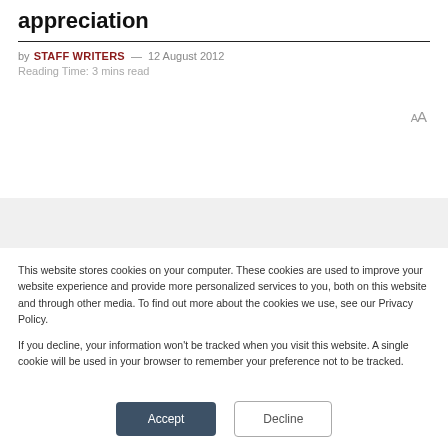appreciation
by STAFF WRITERS — 12 August 2012
Reading Time: 3 mins read
This website stores cookies on your computer. These cookies are used to improve your website experience and provide more personalized services to you, both on this website and through other media. To find out more about the cookies we use, see our Privacy Policy.
If you decline, your information won't be tracked when you visit this website. A single cookie will be used in your browser to remember your preference not to be tracked.
Accept
Decline